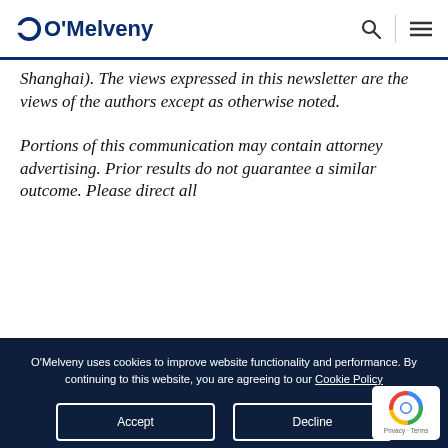O'Melveny
Shanghai). The views expressed in this newsletter are the views of the authors except as otherwise noted.
Portions of this communication may contain attorney advertising. Prior results do not guarantee a similar outcome. Please direct all
O'Melveny uses cookies to improve website functionality and performance. By continuing to this website, you are agreeing to our Cookie Policy
Accept
Decline